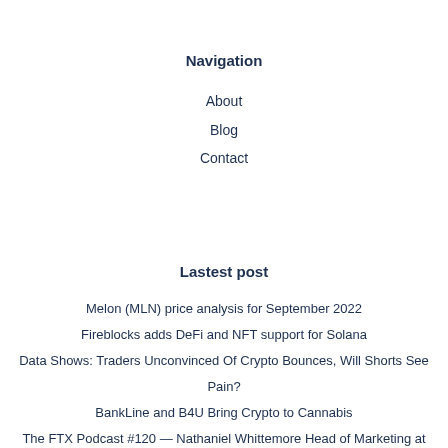Navigation
About
Blog
Contact
Lastest post
Melon (MLN) price analysis for September 2022
Fireblocks adds DeFi and NFT support for Solana
Data Shows: Traders Unconvinced Of Crypto Bounces, Will Shorts See Pain?
BankLine and B4U Bring Crypto to Cannabis
The FTX Podcast #120 — Nathaniel Whittemore Head of Marketing at FTX